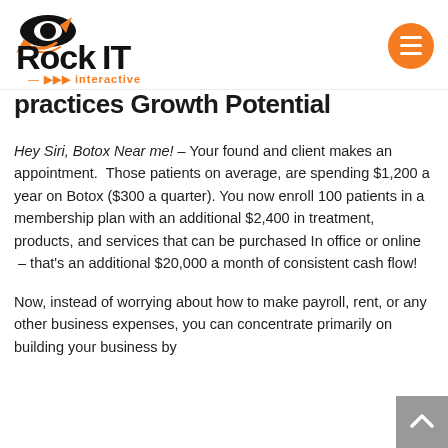[Figure (logo): RockIT Interactive logo with rocket graphic, black and orange text]
practices Growth Potential
Hey Siri, Botox Near me! – Your found and client makes an appointment.  Those patients on average, are spending $1,200 a year on Botox ($300 a quarter). You now enroll 100 patients in a membership plan with an additional $2,400 in treatment, products, and services that can be purchased In office or online  – that's an additional $20,000 a month of consistent cash flow!
Now, instead of worrying about how to make payroll, rent, or any other business expenses, you can concentrate primarily on building your business by